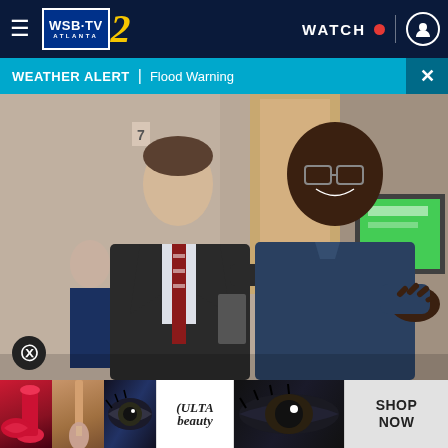WSB-TV 2 Atlanta | WATCH
WEATHER ALERT | Flood Warning
[Figure (photo): Two men in what appears to be an office or medical facility. On the left, a man in a dark suit with a striped tie. On the right, a taller man in a navy blue polo shirt with glasses, gesturing with his right hand. Background shows a door, wall with a number 7, and a green screen/monitor.]
[Figure (photo): Ulta Beauty advertisement banner showing makeup product images (lipstick, brush, eye makeup), the Ulta Beauty logo, and a 'SHOP NOW' call to action.]